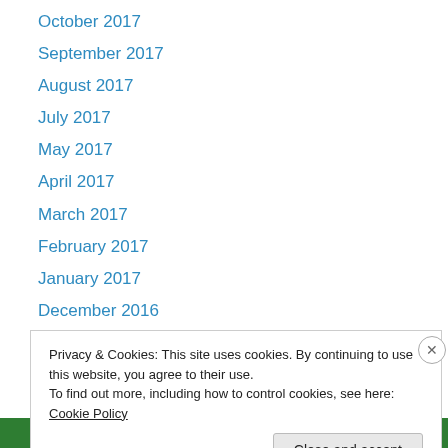October 2017
September 2017
August 2017
July 2017
May 2017
April 2017
March 2017
February 2017
January 2017
December 2016
November 2016
September 2016
August 2016
Privacy & Cookies: This site uses cookies. By continuing to use this website, you agree to their use. To find out more, including how to control cookies, see here: Cookie Policy
Close and accept